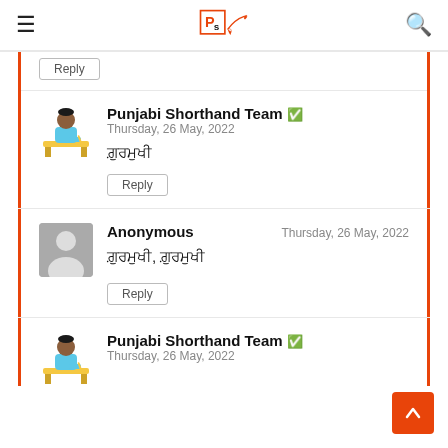Punjabi Shorthand Team — website header with logo, hamburger menu, and search icon
Reply
Punjabi Shorthand Team — Thursday, 26 May, 2022 — ਗ਼ੁਰਮੁਖੀ
Reply
Anonymous — Thursday, 26 May, 2022 — ਗ਼ੁਰਮੁਖੀ, ਗ਼ੁਰਮੁਖੀ
Reply
Punjabi Shorthand Team — Thursday, 26 May, 2022